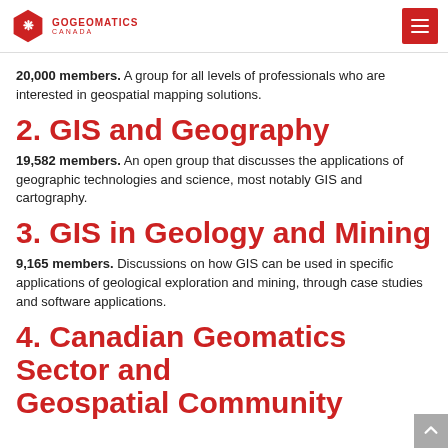GOGEOMATICS CANADA
20,000 members. A group for all levels of professionals who are interested in geospatial mapping solutions.
2. GIS and Geography
19,582 members. An open group that discusses the applications of geographic technologies and science, most notably GIS and cartography.
3. GIS in Geology and Mining
9,165 members. Discussions on how GIS can be used in specific applications of geological exploration and mining, through case studies and software applications.
4. Canadian Geomatics Sector and Geospatial Community